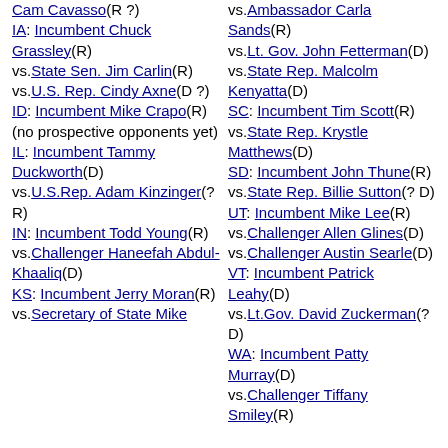Cam Cavasso(R ?) IA: Incumbent Chuck Grassley(R) vs.State Sen. Jim Carlin(R) vs.U.S. Rep. Cindy Axne(D ?) ID: Incumbent Mike Crapo(R) (no prospective opponents yet) IL: Incumbent Tammy Duckworth(D) vs.U.S.Rep. Adam Kinzinger(? R) IN: Incumbent Todd Young(R) vs.Challenger Haneefah Abdul-Khaaliq(D) KS: Incumbent Jerry Moran(R) vs.Secretary of State Mike
vs.Ambassador Carla Sands(R) vs.Lt. Gov. John Fetterman(D) vs.State Rep. Malcolm Kenyatta(D) SC: Incumbent Tim Scott(R) vs.State Rep. Krystle Matthews(D) SD: Incumbent John Thune(R) vs.State Rep. Billie Sutton(? D) UT: Incumbent Mike Lee(R) vs.Challenger Allen Glines(D) vs.Challenger Austin Searle(D) VT: Incumbent Patrick Leahy(D) vs.Lt.Gov. David Zuckerman(? D) WA: Incumbent Patty Murray(D) vs.Challenger Tiffany Smiley(R)